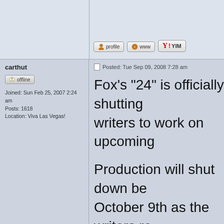[Figure (screenshot): Forum post buttons: profile, www, YIM]
carthut
[Figure (other): Offline badge icon]
Joined: Sun Feb 25, 2007 2:24 am
Posts: 1618
Location: Viva Las Vegas!
Posted: Tue Sep 09, 2008 7:28 am
Fox's "24" is officially shutting writers to work on upcoming
Production will shut down be October 9th as the writers re final six episodes of the upc
The reason for the delay is th Howard Gordon had been co several scripts for upcoming